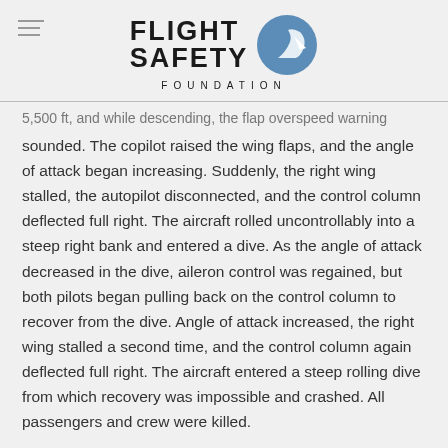FLIGHT SAFETY FOUNDATION
5,500 ft, and while descending, the flap overspeed warning sounded. The copilot raised the wing flaps, and the angle of attack began increasing. Suddenly, the right wing stalled, the autopilot disconnected, and the control column deflected full right. The aircraft rolled uncontrollably into a steep right bank and entered a dive. As the angle of attack decreased in the dive, aileron control was regained, but both pilots began pulling back on the control column to recover from the dive. Angle of attack increased, the right wing stalled a second time, and the control column again deflected full right. The aircraft entered a steep rolling dive from which recovery was impossible and crashed. All passengers and crew were killed.
The subsequent accident investigation determined that th